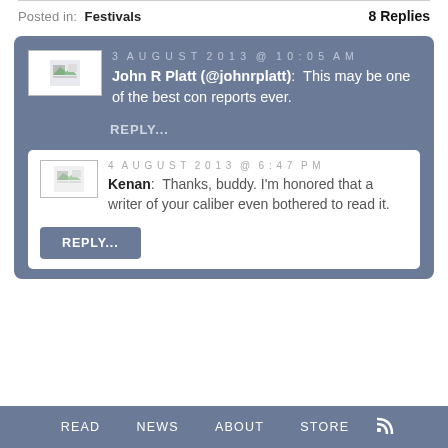Posted in: Festivals    8 Replies
3 AUGUST 2013 @ 10:05 AM
John R Platt (@johnrplatt): This may be one of the best con reports ever.
REPLY...
4 AUGUST 2013 @ 6:47 PM
Kenan: Thanks, buddy. I'm honored that a writer of your caliber even bothered to read it.
REPLY...
READ   NEWS   ABOUT   STORE   RSS